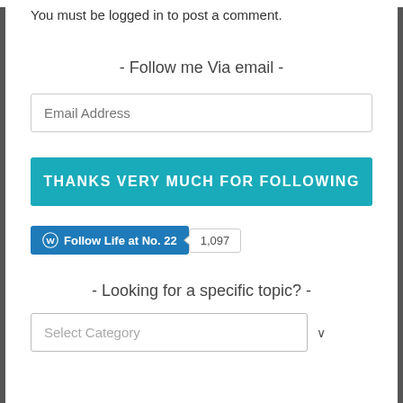You must be logged in to post a comment.
- Follow me Via email -
Email Address
THANKS VERY MUCH FOR FOLLOWING
[Figure (other): WordPress Follow Life at No. 22 button with follower count 1,097]
- Looking for a specific topic? -
Select Category